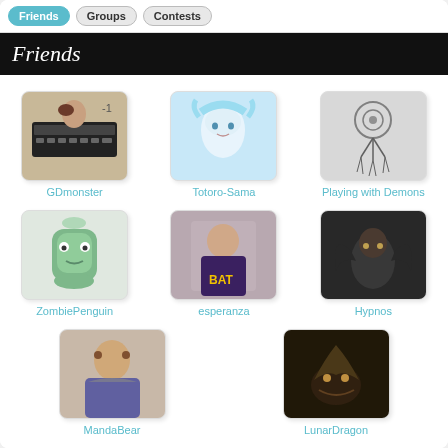Friends | Groups | Contests
Friends
[Figure (photo): Avatar thumbnail for GDmonster - person with keyboard instrument]
GDmonster
[Figure (photo): Avatar thumbnail for Totoro-Sama - anime girl with blue hair]
Totoro-Sama
[Figure (illustration): Avatar thumbnail for Playing with Demons - dreamcatcher illustration]
Playing with Demons
[Figure (illustration): Avatar thumbnail for ZombiePenguin - cartoon green zombie-like creature]
ZombiePenguin
[Figure (photo): Avatar thumbnail for esperanza - person in Batman shirt taking selfie]
esperanza
[Figure (photo): Avatar thumbnail for Hypnos - dark figure with wings]
Hypnos
[Figure (photo): Avatar thumbnail for MandaBear - person with tattoos]
MandaBear
[Figure (illustration): Avatar thumbnail for LunarDragon - dark dragon illustration]
LunarDragon